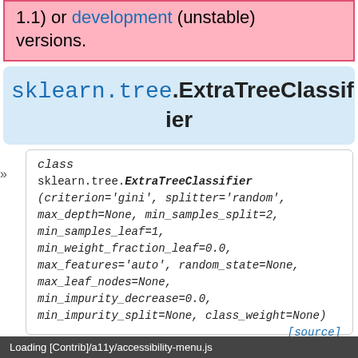1.1) or development (unstable) versions.
sklearn.tree.ExtraTreeClassifier
class sklearn.tree.ExtraTreeClassifier(criterion='gini', splitter='random', max_depth=None, min_samples_split=2, min_samples_leaf=1, min_weight_fraction_leaf=0.0, max_features='auto', random_state=None, max_leaf_nodes=None, min_impurity_decrease=0.0, min_impurity_split=None, class_weight=None)
An extremely randomized tree classifier.
Extra-trees differ from classic decision trees in the way they are built. When looking for the best split to separate the features in a tree with random attributes, random splits are drawn
Loading [Contrib]/a11y/accessibility-menu.js